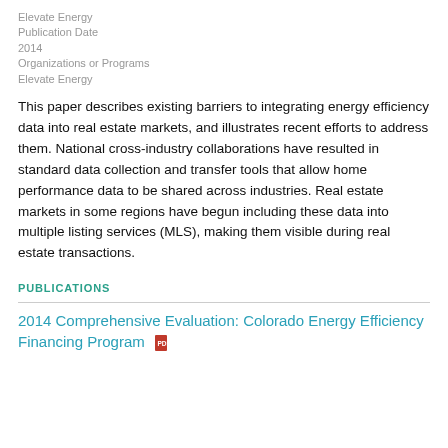Elevate Energy
Publication Date
2014
Organizations or Programs
Elevate Energy
This paper describes existing barriers to integrating energy efficiency data into real estate markets, and illustrates recent efforts to address them. National cross-industry collaborations have resulted in standard data collection and transfer tools that allow home performance data to be shared across industries. Real estate markets in some regions have begun including these data into multiple listing services (MLS), making them visible during real estate transactions.
PUBLICATIONS
2014 Comprehensive Evaluation: Colorado Energy Efficiency Financing Program